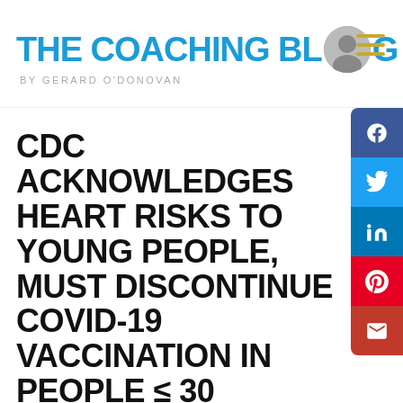THE COACHING BLOG BY GERARD O'DONOVAN
CDC ACKNOWLEDGES HEART RISKS TO YOUNG PEOPLE, MUST DISCONTINUE COVID-19 VACCINATION IN PEOPLE ≤ 30
by Evan
STATEMENT FROM AFLDS